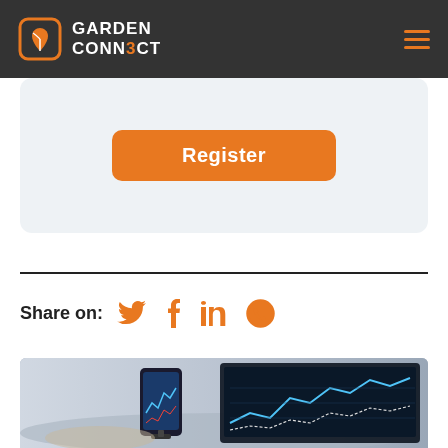Garden Connect
[Figure (screenshot): Register button on a light grey rounded card background]
Share on:
[Figure (photo): A smartphone on a stand and a tablet/monitor displaying financial chart data with stock market graphs]